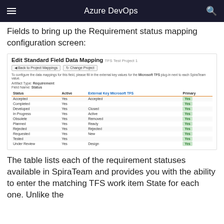Azure DevOps
Fields to bring up the Requirement status mapping configuration screen:
[Figure (screenshot): Screenshot of the Edit Standard Field Data Mapping screen for TFS Test Project 1, showing a table mapping SpiraTeam Requirement statuses (Accepted, Completed, Developed, In Progress, Obsolete, Planned, Rejected, Requested, Tested, Under Review) with Active=Yes and External Key (Microsoft TFS) values (Accepted, [blank], Closed, Active, Removed, Ready, Rejected, New, [blank], Design) and Primary=Yes buttons.]
The table lists each of the requirement statuses available in SpiraTeam and provides you with the ability to enter the matching TFS work item State for each one. Unlike the